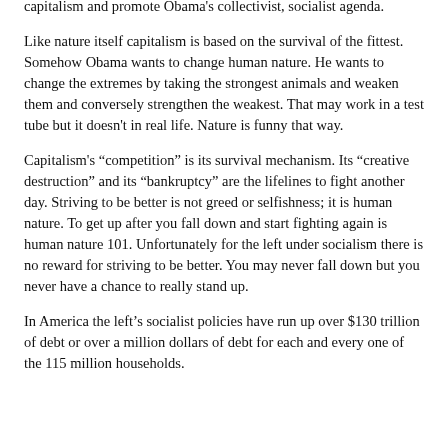capitalism and promote Obama's collectivist, socialist agenda.
Like nature itself capitalism is based on the survival of the fittest. Somehow Obama wants to change human nature. He wants to change the extremes by taking the strongest animals and weaken them and conversely strengthen the weakest. That may work in a test tube but it doesn't in real life. Nature is funny that way.
Capitalism's “competition” is its survival mechanism. Its “creative destruction” and its “bankruptcy” are the lifelines to fight another day. Striving to be better is not greed or selfishness; it is human nature. To get up after you fall down and start fighting again is human nature 101. Unfortunately for the left under socialism there is no reward for striving to be better. You may never fall down but you never have a chance to really stand up.
In America the left’s socialist policies have run up over $130 trillion of debt or over a million dollars of debt for each and every one of the 115 million households.